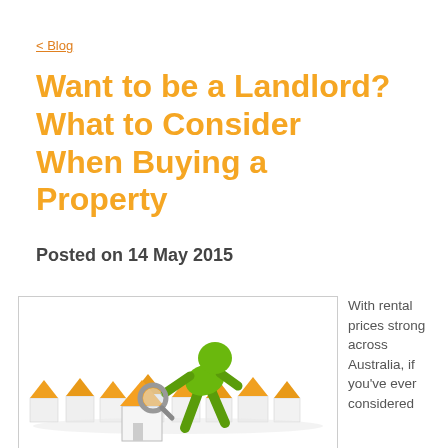< Blog
Want to be a Landlord? What to Consider When Buying a Property
Posted on 14 May 2015
[Figure (illustration): A green 3D cartoon figure holding a magnifying glass, bending over a scene of many small white and orange toy houses arranged on a white surface.]
With rental prices strong across Australia, if you've ever considered